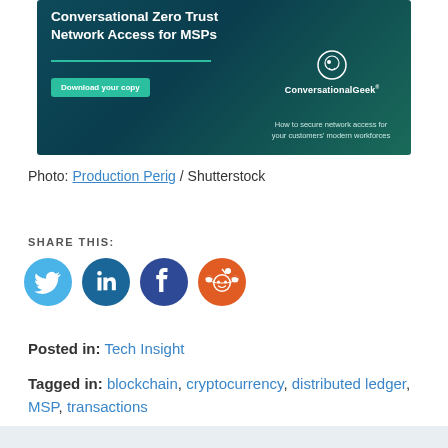[Figure (illustration): Advertisement banner for Conversational Zero Trust Network Access for MSPs by ConversationalGeek, with teal/dark teal background, Download your copy button, and tagline about securing network access for modern workforces]
Photo: Production Perig / Shutterstock
SHARE THIS:
[Figure (infographic): Social media sharing icons: Twitter (light blue), LinkedIn (dark blue), Facebook (dark blue), Reddit (orange)]
Posted in: Tech Insight
Tagged in: blockchain, cryptocurrency, distributed ledger, MSP, transactions